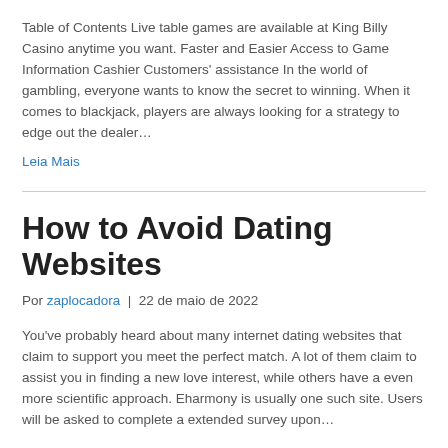Table of Contents Live table games are available at King Billy Casino anytime you want. Faster and Easier Access to Game Information Cashier Customers' assistance In the world of gambling, everyone wants to know the secret to winning. When it comes to blackjack, players are always looking for a strategy to edge out the dealer…
Leia Mais
How to Avoid Dating Websites
Por zaplocadora | 22 de maio de 2022
You've probably heard about many internet dating websites that claim to support you meet the perfect match. A lot of them claim to assist you in finding a new love interest, while others have a even more scientific approach. Eharmony is usually one such site. Users will be asked to complete a extended survey upon…